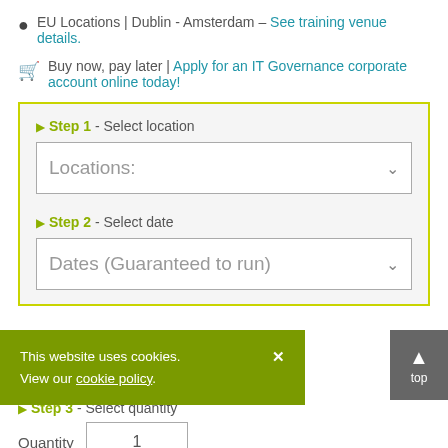EU Locations | Dublin - Amsterdam - See training venue details.
Buy now, pay later | Apply for an IT Governance corporate account online today!
Step 1 - Select location
Locations:
Step 2 - Select date
Dates (Guaranteed to run)
This website uses cookies. View our cookie policy.
Step 3 - Select quantity
Quantity  1